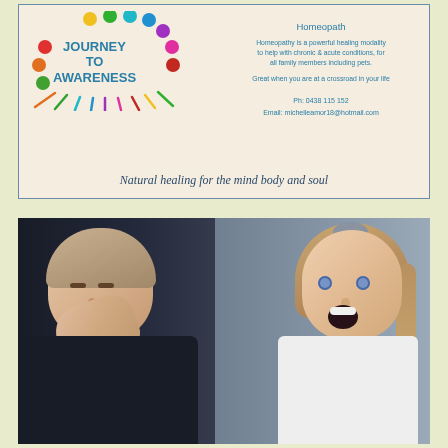[Figure (infographic): Business card for Journey to Awareness - Homeopath. Features colorful circular logo with rainbow balls arranged in an arc. Text on left: JOURNEY TO AWARENESS. Text on right: Homeopath, description of homeopathy services, contact details Ph: 0438 115 152, Email: michelleamor18@hotmail.com. Bottom text: Natural healing for the mind body and soul.]
[Figure (photo): Photo of two smiling/laughing children seated in the back of a car. A young boy on the left with his hand near his mouth, and a girl on the right with long hair and a hair accessory, mouth open wide laughing.]